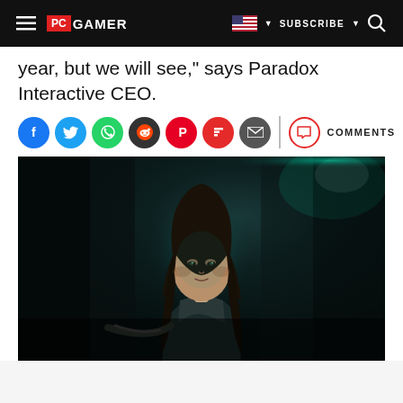PC GAMER | SUBSCRIBE
year, but we will see," says Paradox Interactive CEO.
[Figure (other): Social sharing bar with icons for Facebook, Twitter, WhatsApp, Reddit, Pinterest, Flipboard, Email, and a Comments button]
[Figure (photo): Dark cinematic screenshot showing a character with long dark hair in a dimly lit environment with teal/cyan ambient lighting, holding a weapon. Appears to be from a video game, likely Vampire: The Masquerade.]